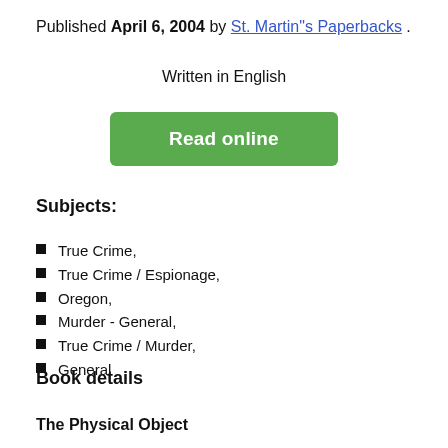Published April 6, 2004 by St. Martin"s Paperbacks .
Written in English
[Figure (other): Green 'Read online' button]
Subjects:
True Crime,
True Crime / Espionage,
Oregon,
Murder - General,
True Crime / Murder,
General
Book details
The Physical Object